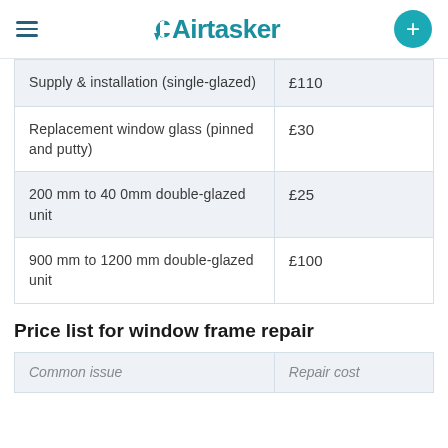Airtasker
| Supply & installation (single-glazed) | £110 |
| Replacement window glass (pinned and putty) | £30 |
| 200 mm to 40 0mm double-glazed unit | £25 |
| 900 mm to 1200 mm double-glazed unit | £100 |
Price list for window frame repair
| Common issue | Repair cost |
| --- | --- |